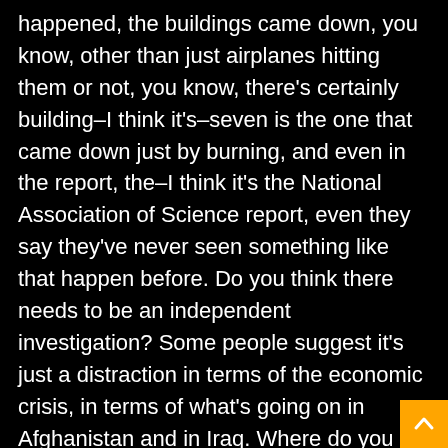happened, the buildings came down, you know, other than just airplanes hitting them or not, you know, there's certainly building–I think it's–seven is the one that came down just by burning, and even in the report, the–I think it's the National Association of Science report, even they say they've never seen something like that happen before. Do you think there needs to be an independent investigation? Some people suggest it's just a distraction in terms of the economic crisis, in terms of what's going on in Afghanistan and in Iraq. Where do you come down on that?
ROWLEY: If you're asking me, I stay out of the engineering and architectural arguments because I have no background in those areas. I think–I don't think we do know the complete full truth about 9/11. And my personal opinion aligns with Mr. Scott's in the sense that I think the murk